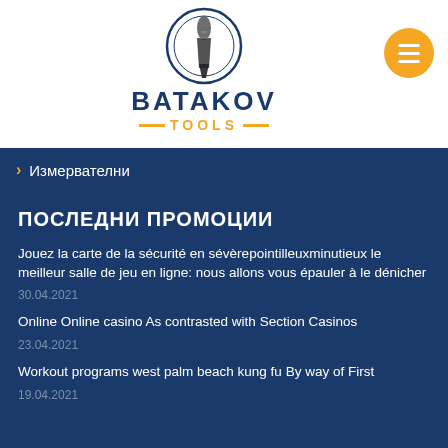[Figure (logo): Batakov Tools logo with circular drill bit icon, BATAKOV in dark blue bold text, TOOLS in orange with dashes on either side]
Измервателни
ПОСЛЕДНИ ПРОМОЦИИ
Jouez la carte de la sécurité en sévèrepointilleuxminutieux le meilleur salle de jeu en ligne: nous allons vous épauler à le dénicher
30.04.2021
Online Online casino As contrasted with Section Casinos
23.04.2021
Workout programs west palm beach kung fu By way of First
19.04.2021